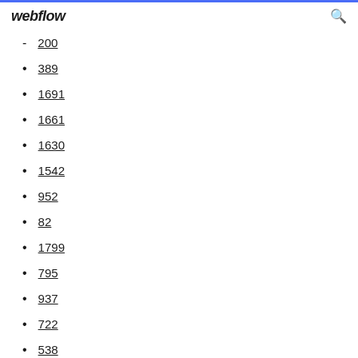webflow
200
389
1691
1661
1630
1542
952
82
1799
795
937
722
538